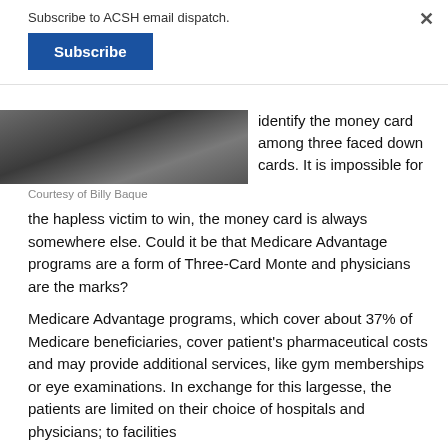Subscribe to ACSH email dispatch.
Subscribe
[Figure (photo): Black and white photo showing objects on a surface, partially cropped at top]
Courtesy of Billy Baque
identify the money card among three faced down cards. It is impossible for the hapless victim to win, the money card is always somewhere else. Could it be that Medicare Advantage programs are a form of Three-Card Monte and physicians are the marks?
Medicare Advantage programs, which cover about 37% of Medicare beneficiaries, cover patient's pharmaceutical costs and may provide additional services, like gym memberships or eye examinations. In exchange for this largesse, the patients are limited on their choice of hospitals and physicians; to facilities